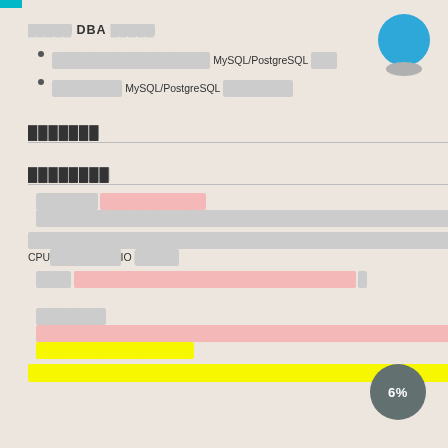█████ DBA █████
██████████████████ MySQL/PostgreSQL ███
████████ MySQL/PostgreSQL ████████
███████
████████
███████ [REDACTED PINK] ████████████████████████████████████████████████
████████████████████████████████████████████████████CPU████████IO █████
████ [REDACTED PINK] █
████████ [REDACTED PINK] [REDACTED YELLOW]
[REDACTED YELLOW]